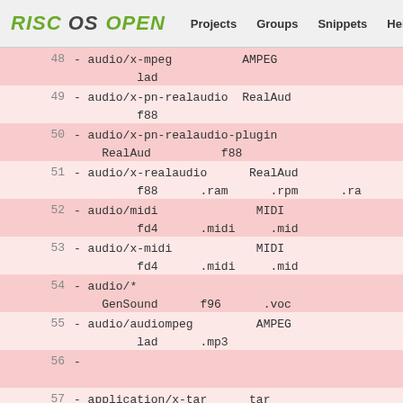RISC OS OPEN  Projects  Groups  Snippets  Help
48  - audio/x-mpeg  AMPEG
         lad
49  - audio/x-pn-realaudio  RealAud
         f88
50  - audio/x-pn-realaudio-plugin
    RealAud          f88
51  - audio/x-realaudio  RealAud
         f88      .ram      .rpm      .ra
52  - audio/midi  MIDI
         fd4      .midi      .mid
53  - audio/x-midi  MIDI
         fd4      .midi      .mid
54  - audio/*
    GenSound      f96      .voc
55  - audio/audiompeg  AMPEG
         lad      .mp3
56  -
57  - application/x-tar  tar
         c46 .tar
58  - application/x-director  Director